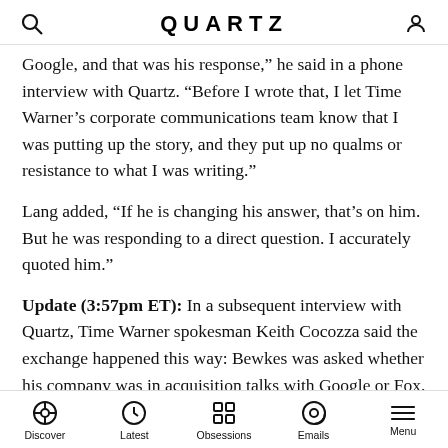QUARTZ
Google, and that was his response,” he said in a phone interview with Quartz. “Before I wrote that, I let Time Warner’s corporate communications team know that I was putting up the story, and they put up no qualms or resistance to what I was writing.”
Lang added, “If he is changing his answer, that’s on him. But he was responding to a direct question. I accurately quoted him.”
Update (3:57pm ET): In a subsequent interview with Quartz, Time Warner spokesman Keith Cocozza said the exchange happened this way: Bewkes was asked whether his company was in acquisition talks with Google or Fox. Bewkes said something to the effect of, “They’re not. I
Discover | Latest | Obsessions | Emails | Menu